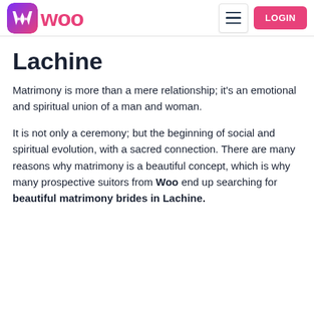WOO — Navigation bar with logo, hamburger menu, and LOGIN button
Lachine
Matrimony is more than a mere relationship; it's an emotional and spiritual union of a man and woman.
It is not only a ceremony; but the beginning of social and spiritual evolution, with a sacred connection. There are many reasons why matrimony is a beautiful concept, which is why many prospective suitors from Woo end up searching for beautiful matrimony brides in Lachine.